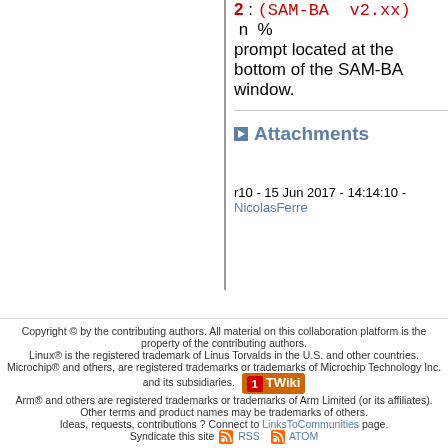2 : (SAM-BA v2.xx) n % prompt located at the bottom of the SAM-BA window.
Attachments
r10 - 15 Jun 2017 - 14:14:10 - NicolasFerre
Copyright © by the contributing authors. All material on this collaboration platform is the property of the contributing authors. Linux® is the registered trademark of Linus Torvalds in the U.S. and other countries. Microchip® and others, are registered trademarks or trademarks of Microchip Technology Inc. and its subsidiaries. Arm® and others are registered trademarks or trademarks of Arm Limited (or its affiliates). Other terms and product names may be trademarks of others. Ideas, requests, contributions ? Connect to LinksToCommunities page. Syndicate this site RSS ATOM